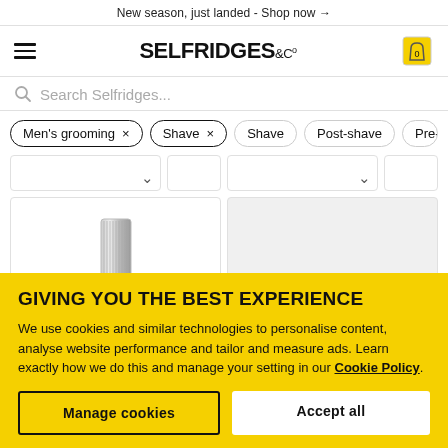New season, just landed - Shop now →
[Figure (logo): Selfridges & Co logo with hamburger menu and cart icon]
Search Selfridges...
Men's grooming ×
Shave ×
Shave
Post-shave
Pre-
[Figure (photo): Product images in a grid - partial view of shaving products]
GIVING YOU THE BEST EXPERIENCE
We use cookies and similar technologies to personalise content, analyse website performance and tailor and measure ads. Learn exactly how we do this and manage your setting in our Cookie Policy.
Manage cookies
Accept all